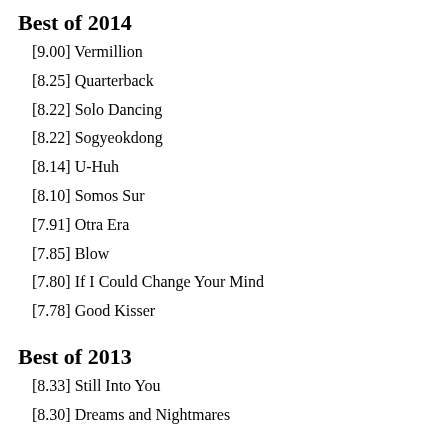Best of 2014
[9.00] Vermillion
[8.25] Quarterback
[8.22] Solo Dancing
[8.22] Sogyeokdong
[8.14] U-Huh
[8.10] Somos Sur
[7.91] Otra Era
[7.85] Blow
[7.80] If I Could Change Your Mind
[7.78] Good Kisser
Best of 2013
[8.33] Still Into You
[8.30] Dreams and Nightmares